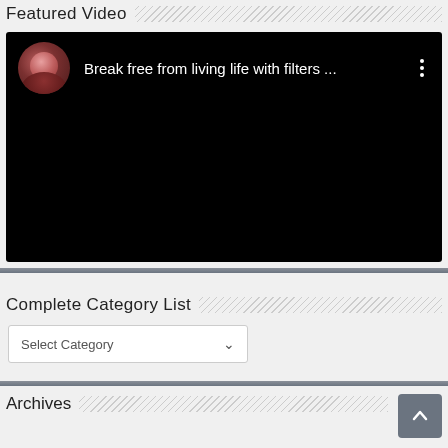Featured Video
[Figure (screenshot): Embedded video player with black background. Top bar shows a circular avatar of a woman with red/auburn hair, followed by title text 'Break free from living life with filters ...' in white, and a three-dot menu icon on the right. Video content area is black.]
Complete Category List
Select Category
Archives